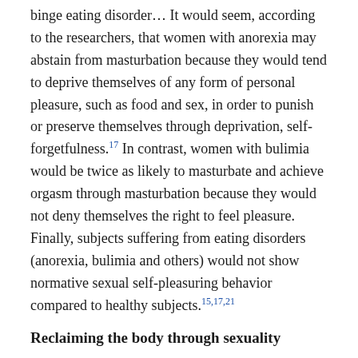binge eating disorder… It would seem, according to the researchers, that women with anorexia may abstain from masturbation because they would tend to deprive themselves of any form of personal pleasure, such as food and sex, in order to punish or preserve themselves through deprivation, self-forgetfulness.17 In contrast, women with bulimia would be twice as likely to masturbate and achieve orgasm through masturbation because they would not deny themselves the right to feel pleasure. Finally, subjects suffering from eating disorders (anorexia, bulimia and others) would not show normative sexual self-pleasuring behavior compared to healthy subjects.15,17,21
Reclaiming the body through sexuality
Feeling calm, free of desire and impulses, in tune with one's body is possible at any age. Learning to relate to one's body, in the image it reflects, in its capacity to give and receive pleasure is an arduous path for people who have experienced trauma and have found control strategies in